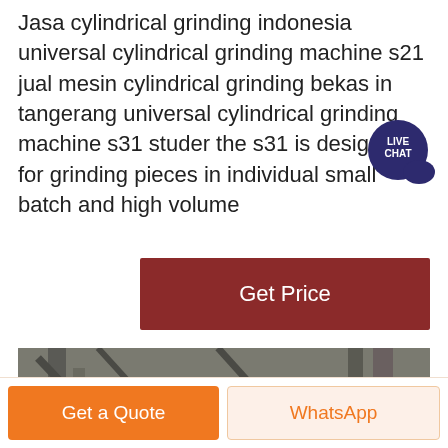Jasa cylindrical grinding indonesia universal cylindrical grinding machine s21 jual mesin cylindrical grinding bekas in tangerang universal cylindrical grinding machine s31 studer the s31 is designed for grinding pieces in individual small batch and high volume
[Figure (other): Live chat badge — dark navy circle with 'LIVE CHAT' text and speech bubble icon]
[Figure (other): Get Price button — dark red/maroon rectangular button with white text 'Get Price']
[Figure (photo): Industrial cylindrical grinding machine photograph showing large metal machinery with pipes, tubes, and a cylindrical grinding unit in grayscale/muted tones]
[Figure (other): Bottom action bar with two buttons: orange 'Get a Quote' button on left and light orange 'WhatsApp' button on right]